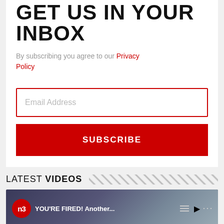GET US IN YOUR INBOX
By subscribing you agree to our Privacy Policy
Email Address
SUBSCRIBE
LATEST VIDEOS
[Figure (screenshot): Video thumbnail showing N3 logo and text YOU'RE FIRED! Another...]